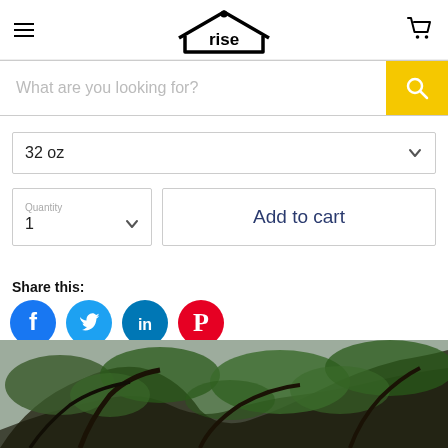rise
What are you looking for?
32 oz
Quantity
1
Add to cart
Share this:
[Figure (screenshot): Social media share icons: Facebook (blue circle with f), Twitter (blue circle with bird), LinkedIn (dark teal circle with in), Pinterest (red circle with P)]
[Figure (photo): Partial view of tree branches with green foliage against a grey sky]